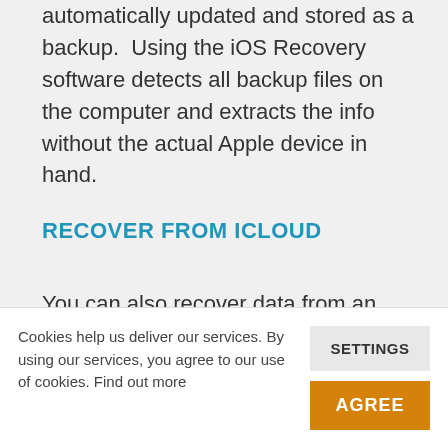automatically updated and stored as a backup.  Using the iOS Recovery software detects all backup files on the computer and extracts the info without the actual Apple device in hand.
RECOVER FROM iCLOUD
You can also recover data from an iCloud backup by logging into your iCloud
Cookies help us deliver our services. By using our services, you agree to our use of cookies. Find out more
SETTINGS
AGREE